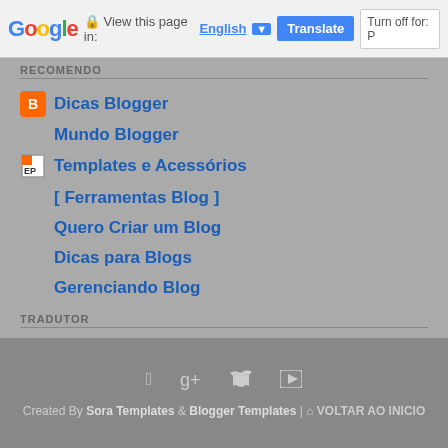Google Translate bar — View this page in: English [▼] | Translate | Turn off for: P
RECOMENDO
Dicas Blogger
Mundo Blogger
Templates e Acessórios
[ Ferramentas Blog ]
Quero Criar um Blog
Dicas para Blogs
Gerenciando Blog
TRADUTOR
[Figure (other): Google Translate language selector widget showing 'Select Language' with dropdown arrow]
Created By Sora Templates & Blogger Templates | ⌂ VOLTAR AO INICIO